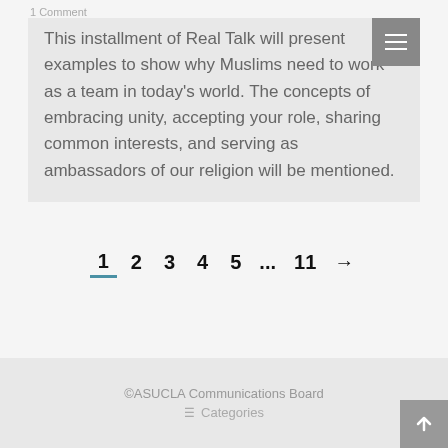1 Comment
This installment of Real Talk will present examples to show why Muslims need to work as a team in today’s world. The concepts of embracing unity, accepting your role, sharing common interests, and serving as ambassadors of our religion will be mentioned.
1  2  3  4  5  …  11  →
©ASUCLA Communications Board  Categories